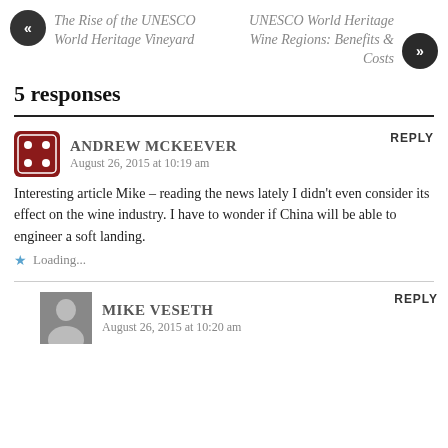The Rise of the UNESCO World Heritage Vineyard
UNESCO World Heritage Wine Regions: Benefits & Costs
5 responses
Andrew Mckeever says: August 26, 2015 at 10:19 am
Interesting article Mike – reading the news lately I didn't even consider its effect on the wine industry. I have to wonder if China will be able to engineer a soft landing.
Loading...
Mike Veseth says: August 26, 2015 at 10:20 am